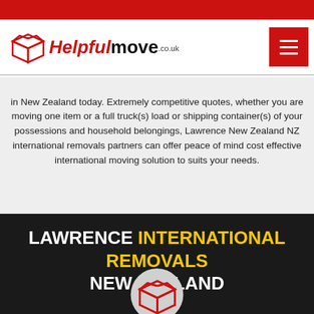Helpfulmove.co.uk
in New Zealand today. Extremely competitive quotes, whether you are moving one item or a full truck(s) load or shipping container(s) of your possessions and household belongings, Lawrence New Zealand NZ international removals partners can offer peace of mind cost effective international moving solution to suits your needs.
LAWRENCE INTERNATIONAL REMOVALS NEW ZEALAND
[Figure (logo): Open box icon in a circle, red outline on grey background]